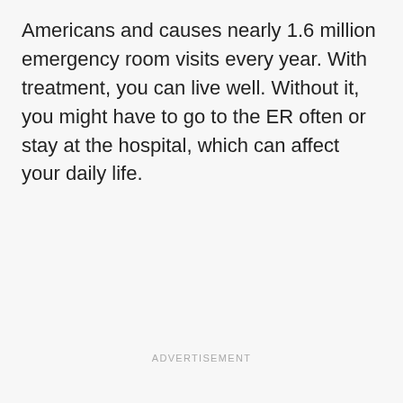Americans and causes nearly 1.6 million emergency room visits every year. With treatment, you can live well. Without it, you might have to go to the ER often or stay at the hospital, which can affect your daily life.
ADVERTISEMENT
ADVERTISEMENT